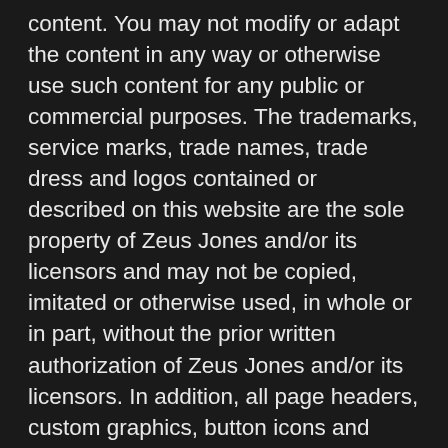content. You may not modify or adapt the content in any way or otherwise use such content for any public or commercial purposes. The trademarks, service marks, trade names, trade dress and logos contained or described on this website are the sole property of Zeus Jones and/or its licensors and may not be copied, imitated or otherwise used, in whole or in part, without the prior written authorization of Zeus Jones and/or its licensors. In addition, all page headers, custom graphics, button icons and scripts are marks of Zeus Jones and may not be copied, imitated or otherwise used, in whole or in part, without the prior written authorization of Zeus Jones. Zeus Jones will enforce its intellectual property rights to the fullest extent of the law.